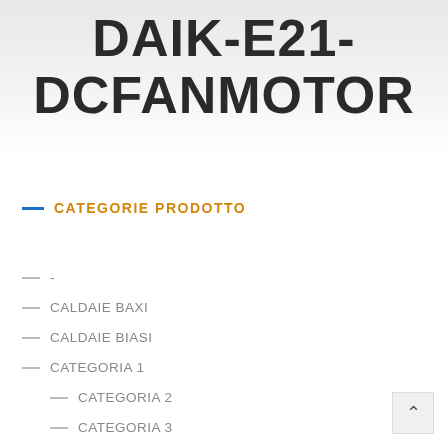DAIK-E21-DCFANMOTOR
CATEGORIE PRODOTTO
-
CALDAIE BAXI
CALDAIE BIASI
CATEGORIA 1
CATEGORIA 2
CATEGORIA 3